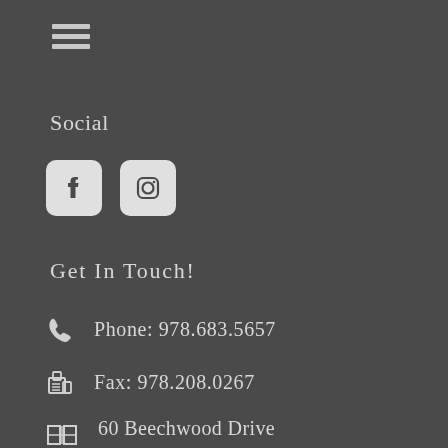[Figure (other): Hamburger menu icon — three horizontal lines]
Social
[Figure (other): Facebook and Instagram social media icons (rounded square white icons on dark background)]
Get In Touch!
Phone: 978.683.5657
Fax: 978.208.0267
60 Beechwood Drive
North Andover, MA 01845